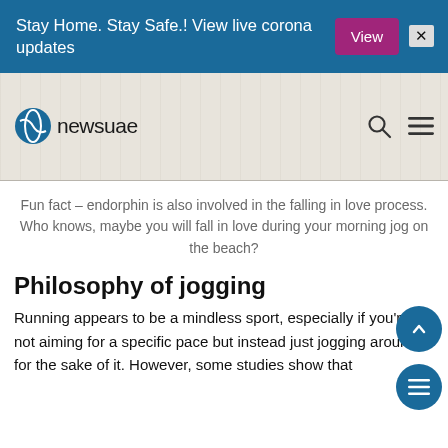Stay Home. Stay Safe.! View live corona updates  View  ×
[Figure (screenshot): newsuae website header with logo, search icon, and hamburger menu icon on a light textured background]
Fun fact – endorphin is also involved in the falling in love process. Who knows, maybe you will fall in love during your morning jog on the beach?
Philosophy of jogging
Running appears to be a mindless sport, especially if you're not aiming for a specific pace but instead just jogging around for the sake of it. However, some studies show that